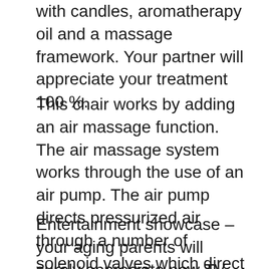with candles, aromatherapy oil and a massage framework. Your partner will appreciate your treatment 100 %.
This chair works by adding an air massage function. The air massage system works through the use of an air pump. The air pump directs pressurized air through a number of solenoid valves which direct the air to contoured airbags specially engineered to deliver a compression style asian body work.
Entertainment showcase – your aging parents will surely appreciate new TV set, radio some other appliances to entertain the kids. They are already old so that all they require do should be to enjoy each day of